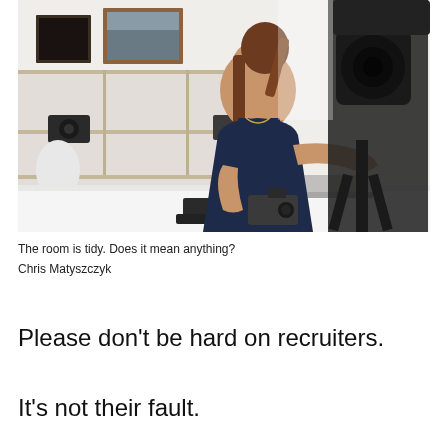[Figure (photo): A young woman with a ponytail in a dark sleeveless top sits at a white desk in a tidy room with shelving units behind her containing framed pictures and camera equipment. She holds a camera lens in one hand and a camera body on the desk with the other. In the foreground, a camera on a tripod is blurred and pointed toward her.]
The room is tidy. Does it mean anything?
Chris Matyszczyk
Please don't be hard on recruiters.
It's not their fault.